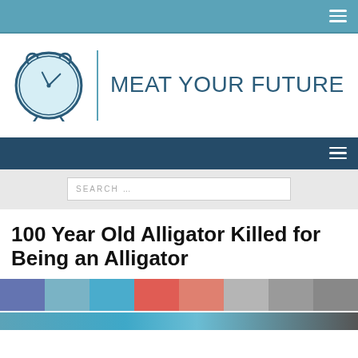MEAT YOUR FUTURE
100 Year Old Alligator Killed for Being an Alligator
[Figure (screenshot): Social media share buttons row: Facebook, Twitter, another Twitter/share, Pinterest, Google+, Email, Print, More]